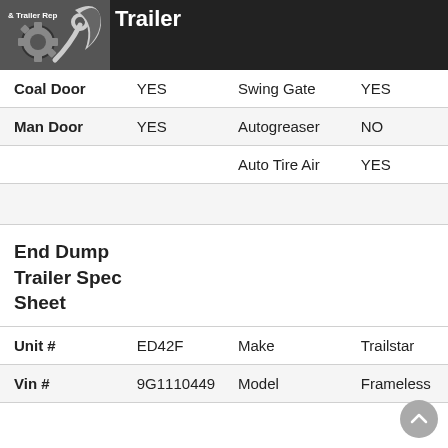Trailer
| Coal Door | YES | Swing Gate | YES |
| Man Door | YES | Autogreaser | NO |
|  |  | Auto Tire Air | YES |
|  |  |  |  |
| End Dump Trailer Spec Sheet |  |  |  |
| Unit # | ED42F | Make | Trailstar |
| Vin # | 9G1110449 | Model | Frameless |